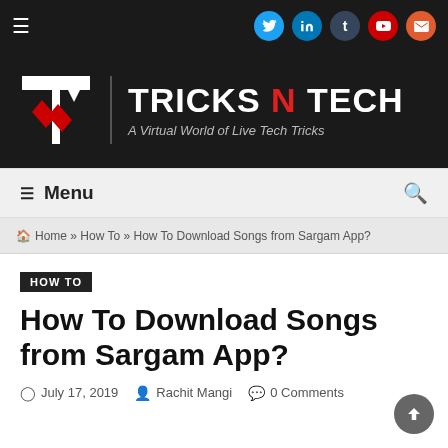Tricks N Tech — A Virtual World of Live Tech Tricks
Menu
Home » How To » How To Download Songs from Sargam App?
HOW TO
How To Download Songs from Sargam App?
July 17, 2019  Rachit Mangi  0 Comments